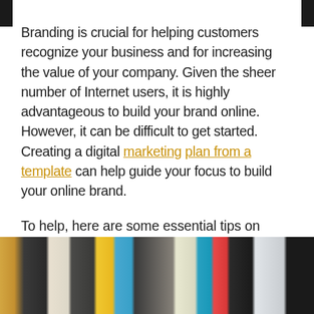Branding is crucial for helping customers recognize your business and for increasing the value of your company. Given the sheer number of Internet users, it is highly advantageous to build your brand online. However, it can be difficult to get started. Creating a digital marketing plan from a template can help guide your focus to build your online brand.
To help, here are some essential tips on creating your online brand:
[Figure (photo): Photo of a desk with a keyboard, colorful pencils, notebook, paper clips, and a smartphone on a dark background.]